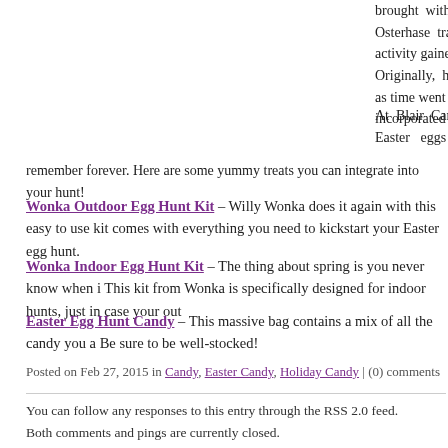brought with them the Osterhase tradition. So activity gained popularity. Originally, hard-boiled eg as time went on, delicious incorporated into the hunt
At Blair Candy, we want Easter eggs hunt tha remember forever. Here are some yummy treats you can integrate into your hunt!
Wonka Outdoor Egg Hunt Kit – Willy Wonka does it again with this easy to use kit comes with everything you need to kickstart your Easter egg hunt.
Wonka Indoor Egg Hunt Kit – The thing about spring is you never know when i This kit from Wonka is specifically designed for indoor hunts, just in case your out
Easter Egg Hunt Candy – This massive bag contains a mix of all the candy you a Be sure to be well-stocked!
Posted on Feb 27, 2015 in Candy, Easter Candy, Holiday Candy | (0) comments
You can follow any responses to this entry through the RSS 2.0 feed.
Both comments and pings are currently closed.
Comments are closed.